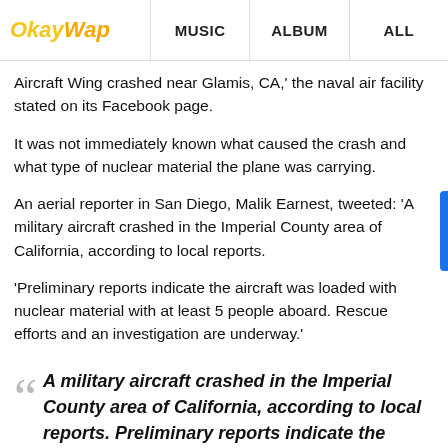OkayWap | MUSIC | ALBUM | ALL
Aircraft Wing crashed near Glamis, CA,' the naval air facility stated on its Facebook page.
It was not immediately known what caused the crash and what type of nuclear material the plane was carrying.
An aerial reporter in San Diego, Malik Earnest, tweeted: 'A military aircraft crashed in the Imperial County area of California, according to local reports.
'Preliminary reports indicate the aircraft was loaded with nuclear material with at least 5 people aboard. Rescue efforts and an investigation are underway.'
A military aircraft crashed in the Imperial County area of California, according to local reports. Preliminary reports indicate the